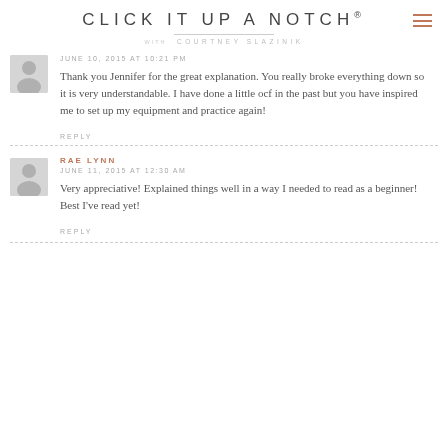CLICK IT UP A NOTCH® with COURTNEY SLAZINIK
JUNE 10, 2015 AT 10:21 PM
Thank you Jennifer for the great explanation. You really broke everything down so it is very understandable. I have done a little ocf in the past but you have inspired me to set up my equipment and practice again!
REPLY
RAE LYNN
JUNE 11, 2015 AT 12:30 AM
Very appreciative! Explained things well in a way I needed to read as a beginner! Best I've read yet!
REPLY